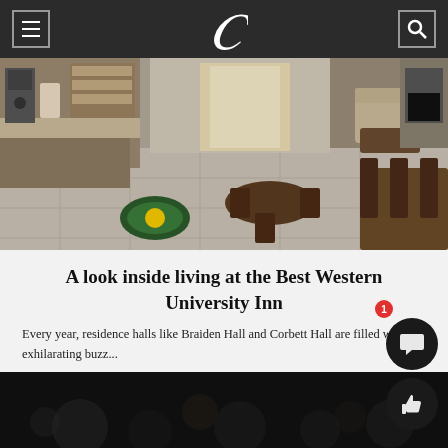Collegiate newspaper navigation header with menu icon, C logo, and search icon
[Figure (photo): Interior of Best Western University Inn lobby/common area showing tables, chairs, coffee station, tiled floor with logo mat, and seating area with fireplace]
A look inside living at the Best Western University Inn
Every year, residence halls like Braiden Hall and Corbett Hall are filled with the exhilarating buzz...
[Figure (photo): Dark blurred photo, appears to be a second article teaser image]